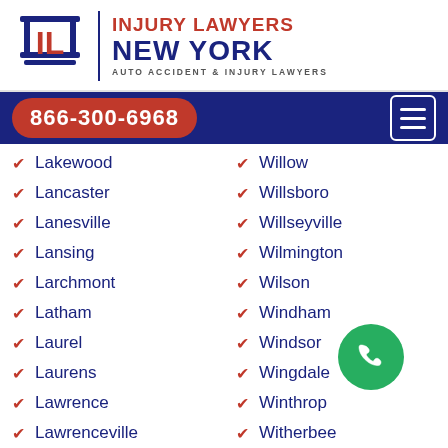[Figure (logo): Injury Lawyers New York logo with red IL letters, blue columns, vertical divider, and text: INJURY LAWYERS NEW YORK AUTO ACCIDENT & INJURY LAWYERS]
866-300-6968
Lakewood
Lancaster
Lanesville
Lansing
Larchmont
Latham
Laurel
Laurens
Lawrence
Lawrenceville
Lawtons
Willow
Willsboro
Willseyville
Wilmington
Wilson
Windham
Windsor
Wingdale
Winthrop
Witherbee
Wolcott